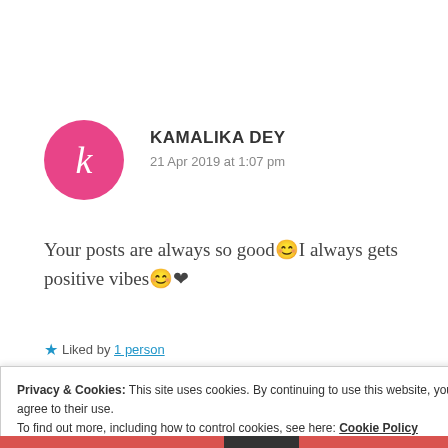[Figure (illustration): Pink circle avatar with letter k in white italic font]
KAMALIKA DEY
21 Apr 2019 at 1:07 pm
Your posts are always so good 😊 I always gets positive vibes 😊 ❤
★ Liked by 1 person
Privacy & Cookies: This site uses cookies. By continuing to use this website, you agree to their use.
To find out more, including how to control cookies, see here: Cookie Policy
Close and accept